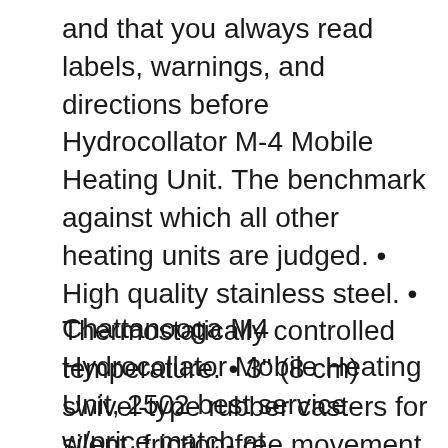and that you always read labels, warnings, and directions before Hydrocollator M-4 Mobile Heating Unit. The benchmark against which all other heating units are judged. • High quality stainless steel. • Thermostatically controlled temperature. • 3" (8 cm) swivel-type rubber casters for silent, friction-free movement of mobile units. • No plumbing required. 110V. The M-4 Mobile Includes 24 standard
Chattanooga M4 Hydrocollator Mobile Heating Unit, 2502 best service w/price match at eraymedical.com Online Dealer serving Locally Suffolk Long Island Brooklyn Manhattan NY & CA Call 877.332.2311 • CHATTANOOGA M4...